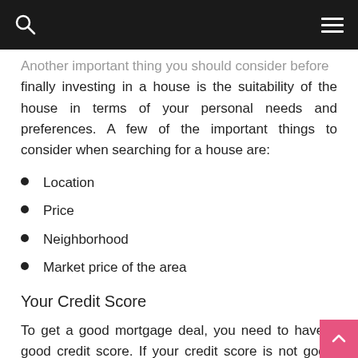[navigation bar with search and menu icons]
Another important thing you should consider before finally investing in a house is the suitability of the house in terms of your personal needs and preferences. A few of the important things to consider when searching for a house are:
Location
Price
Neighborhood
Market price of the area
Your Credit Score
To get a good mortgage deal, you need to have a good credit score. If your credit score is not good then you might want to consider improving your